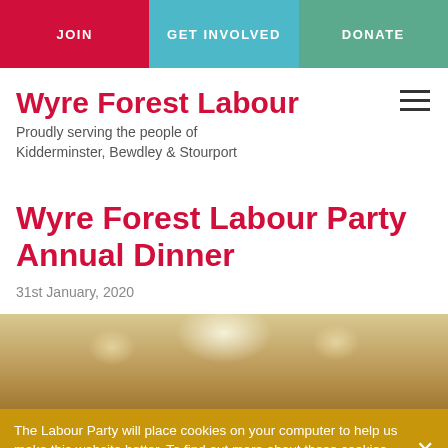JOIN | GET INVOLVED | DONATE
Wyre Forest Labour
Proudly serving the people of Kidderminster, Bewdley & Stourport
Wyre Forest Labour Party Annual Dinner
31st January, 2020
[Figure (photo): Interior of a banquet hall with ceiling lights and warm golden tones]
The Labour Party will place cookies on your computer to help us make this website better. To find out more about these cookies, see our privacy notice.